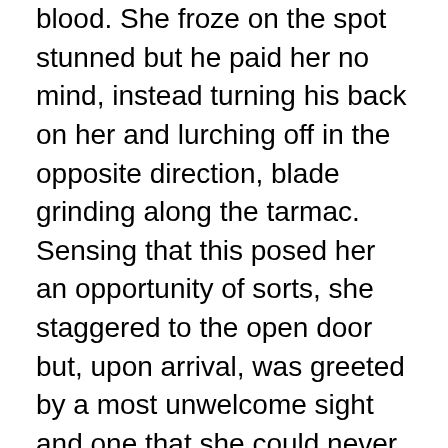blood. She froze on the spot stunned but he paid her no mind, instead turning his back on her and lurching off in the opposite direction, blade grinding along the tarmac. Sensing that this posed her an opportunity of sorts, she staggered to the open door but, upon arrival, was greeted by a most unwelcome sight and one that she could never have prepared herself for.
Inside was her own body, crudely carved and littered with gushing abrasions, totally lifeless. Cass couldn’t stop herself from vomiting over the interior door panel upon being welcomed by this most odious revelation and, as she did, the voices